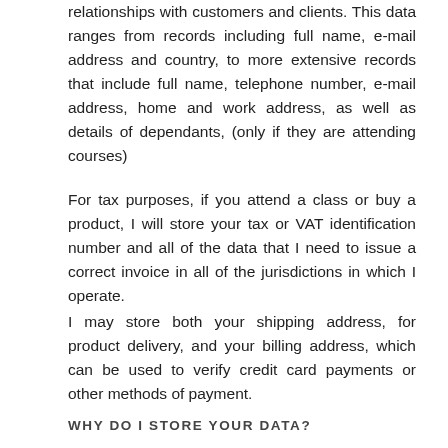relationships with customers and clients. This data ranges from records including full name, e-mail address and country, to more extensive records that include full name, telephone number, e-mail address, home and work address, as well as details of dependants, (only if they are attending courses)
For tax purposes, if you attend a class or buy a product, I will store your tax or VAT identification number and all of the data that I need to issue a correct invoice in all of the jurisdictions in which I operate.
I may store both your shipping address, for product delivery, and your billing address, which can be used to verify credit card payments or other methods of payment.
WHY DO I STORE YOUR DATA?